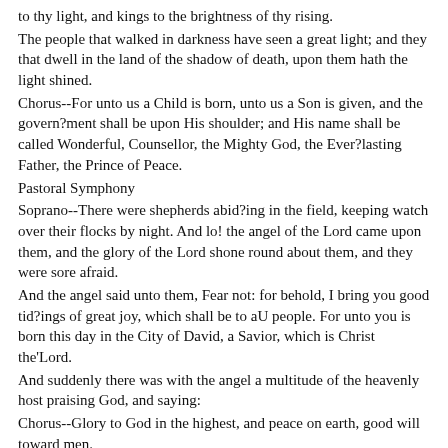to thy light, and kings to the brightness of thy rising.
The people that walked in darkness have seen a great light; and they that dwell in the land of the shadow of death, upon them hath the light shined.
Chorus--For unto us a Child is born, unto us a Son is given, and the govern?ment shall be upon His shoulder; and His name shall be called Wonderful, Counsellor, the Mighty God, the Ever?lasting Father, the Prince of Peace.
Pastoral Symphony
Soprano--There were shepherds abid?ing in the field, keeping watch over their flocks by night. And lo! the angel of the Lord came upon them, and the glory of the Lord shone round about them, and they were sore afraid.
And the angel said unto them, Fear not: for behold, I bring you good tid?ings of great joy, which shall be to aU people. For unto you is born this day in the City of David, a Savior, which is Christ the'Lord.
And suddenly there was with the angel a multitude of the heavenly host praising God, and saying:
Chorus--Glory to God in the highest, and peace on earth, good will toward men.
Soprano--Rejoice greatly, O daughter of Zion. Rejoice greatly, shout, O daughter of Jerusalem. Behold, thy king cometh unto thee. He is the righteous Saviour and He shall speak peace...